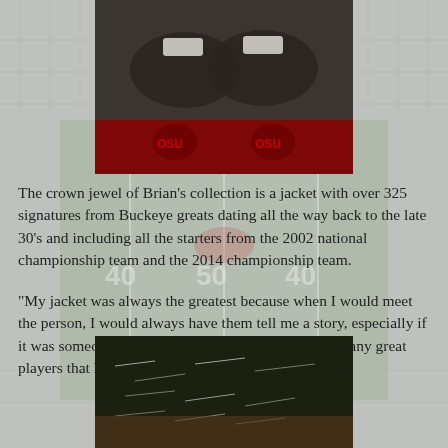[Figure (photo): Photo of worn football cleats/shoes placed on Ohio State Buckeyes merchandise with OSU logo visible]
The crown jewel of Brian’s collection is a jacket with over 325 signatures from Buckeye greats dating all the way back to the late 30’s and including all the starters from the 2002 national championship team and the 2014 championship team.
“My jacket was always the greatest because when I would meet the person, I would always have them tell me a story, especially if it was someone who played for Woody. I’ve met so many great players that have told me stories and I love it.”
[Figure (photo): Photo of a signed jacket with multiple autographs visible on dark fabric, displayed on a surface]